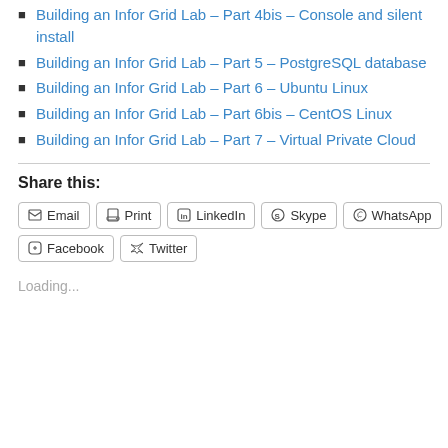Building an Infor Grid Lab – Part 4bis – Console and silent install
Building an Infor Grid Lab – Part 5 – PostgreSQL database
Building an Infor Grid Lab – Part 6 – Ubuntu Linux
Building an Infor Grid Lab – Part 6bis – CentOS Linux
Building an Infor Grid Lab – Part 7 – Virtual Private Cloud
Share this:
Email  Print  LinkedIn  Skype  WhatsApp  Facebook  Twitter
Loading...